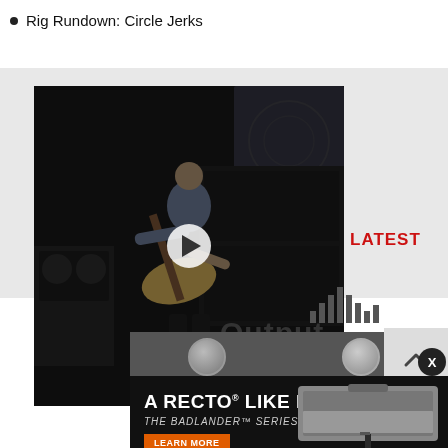Rig Rundown: Circle Jerks
[Figure (screenshot): Video player showing a person playing an electric guitar in front of amplifiers, with a play button overlay in the center. The scene is darkened with a video overlay.]
LATEST
Output
[Figure (screenshot): Audio waveform/equalizer bars graphic partially visible to the right of the video.]
[Figure (screenshot): Advertisement banner for Mesa/Boogie. Text reads: A RECTO® LIKE NO OTHER / THE BADLANDER™ SERIES / LEARN MORE button / MESA/BOOGIE logo. Shows amplifier head and guitar.]
A RECTO® LIKE NO OTHER
THE BADLANDER™ SERIES
LEARN MORE
MESA/BOOGIE